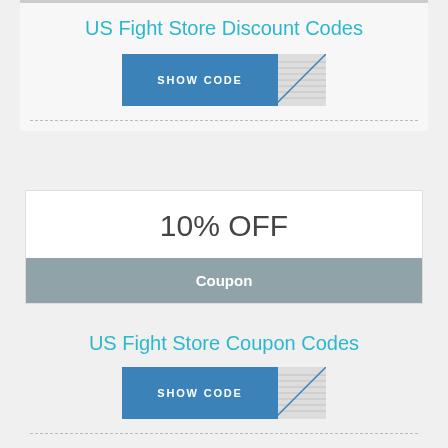US Fight Store Discount Codes
[Figure (other): Show Code button with blue left portion and hatched right portion]
[Figure (other): Coupon card showing 10% OFF with grey Coupon label bar]
US Fight Store Coupon Codes
[Figure (other): Show Code button with blue left portion and hatched right portion]